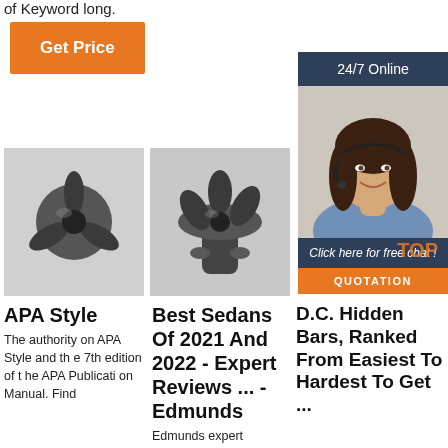of Keyword long.
Get Price
[Figure (screenshot): 24/7 Online customer support banner with photo of woman wearing headset, 'Click here for free chat!' text, and QUOTATION button]
[Figure (photo): Black drill bit component, top-down view, grayscale]
[Figure (photo): Black drill bit component, side-angled view, grayscale]
APA Style
The authority on APA Style and the 7th edition of the APA Publication Manual. Find
Best Sedans Of 2021 And 2022 - Expert Reviews ... - Edmunds
Edmunds expert
D.C. Hidden Bars, Ranked From Easiest To Hardest To Get ...